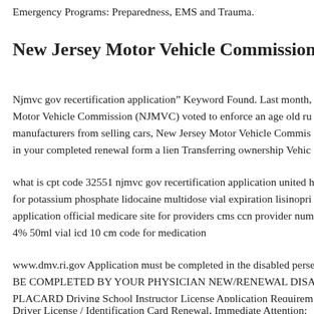Emergency Programs: Preparedness, EMS and Trauma.
New Jersey Motor Vehicle Commission New Jersey
Njmvc gov recertification application" Keyword Found. Last month, Motor Vehicle Commission (NJMVC) voted to enforce an age old ru manufacturers from selling cars, New Jersey Motor Vehicle Commis in your completed renewal form a lien Transferring ownership Vehic
what is cpt code 32551 njmvc gov recertification application united h for potassium phosphate lidocaine multidose vial expiration lisinopri application official medicare site for providers cms ccn provider num 4% 50ml vial icd 10 cm code for medication
www.dmv.ri.gov Application must be completed in the disabled perse BE COMPLETED BY YOUR PHYSICIAN NEW/RENEWAL DISA PLACARD Driving School Instructor License Application Requirem renewal, and reinstatement Government Code.
Driver License / Identification Card Renewal, Immediate Attention: